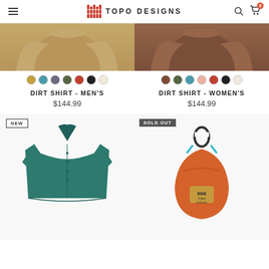TOPO DESIGNS
[Figure (photo): Top half of men's dirt shirt in tan/brown color on left, women's dirt shirt in brown/mauve color on right]
DIRT SHIRT - MEN'S
$144.99
DIRT SHIRT - WOMEN'S
$144.99
[Figure (photo): Teal short-sleeve button-up shirt with NEW badge]
[Figure (photo): Orange teardrop-shaped pouch/case with teal zipper pulls and black carabiner, with SOLD OUT badge]